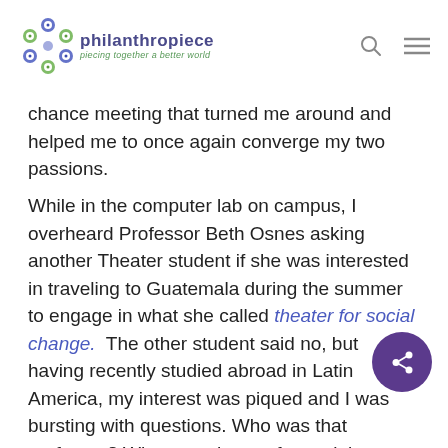philanthropiece — piecing together a better world
chance meeting that turned me around and helped me to once again converge my two passions.
While in the computer lab on campus, I overheard Professor Beth Osnes asking another Theater student if she was interested in traveling to Guatemala during the summer to engage in what she called theater for social change.  The other student said no, but  having recently studied abroad in Latin America, my interest was piqued and I was bursting with questions. Who was that professor? What was theater for social change? How